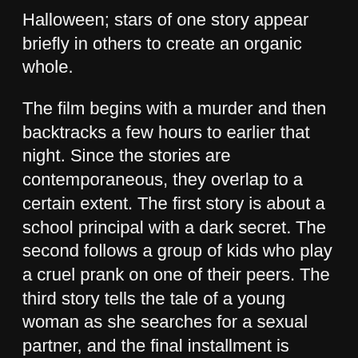Halloween; stars of one story appear briefly in others to create an organic whole.
The film begins with a murder and then backtracks a few hours to earlier that night. Since the stories are contemporaneous, they overlap to a certain extent. The first story is about a school principal with a dark secret. The second follows a group of kids who play a cruel prank on one of their peers. The third story tells the tale of a young woman as she searches for a sexual partner, and the final installment is about a man who's haunted by his past.
Though the film is broken down into four distinct stories, all of which take place on the same night, the movie gives the impression as being part of a much larger series of events; it succeeds in creating a believable world in which dark spirits manifest in different and varied ways. The world of Trick 'r Treat is mostly benign but people must follow the rules that govern Halloween in order to survive the night.
Far from being a cautionary tale, Trick 'r Treat's rules ensure that life is properly respected. Karma, or perhaps more